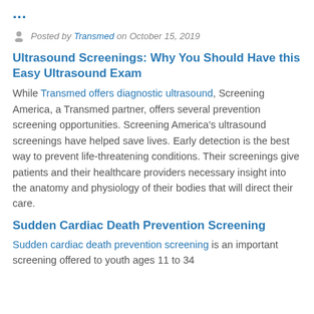...
Posted by Transmed on October 15, 2019
Ultrasound Screenings: Why You Should Have this Easy Ultrasound Exam
While Transmed offers diagnostic ultrasound, Screening America, a Transmed partner, offers several prevention screening opportunities. Screening America's ultrasound screenings have helped save lives. Early detection is the best way to prevent life-threatening conditions. Their screenings give patients and their healthcare providers necessary insight into the anatomy and physiology of their bodies that will direct their care.
Sudden Cardiac Death Prevention Screening
Sudden cardiac death prevention screening is an important screening offered to youth ages 11 to 34